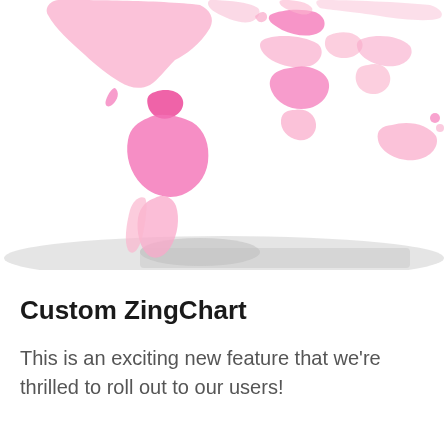[Figure (map): Partial world map showing countries colored in varying shades of pink/magenta indicating data values. Visible regions include South America (Brazil, Venezuela, Argentina in strong pink), parts of North America, Europe, Africa, and Asia. Antarctica and Southern Ocean region shown in light gray at bottom.]
Custom ZingChart
This is an exciting new feature that we're thrilled to roll out to our users!